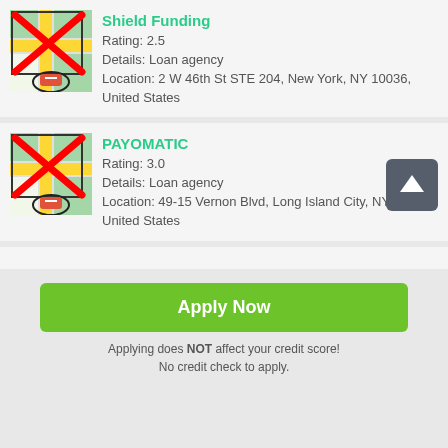[Figure (screenshot): Map icon with red X overlay and location pin, for Shield Funding listing]
Shield Funding
Rating: 2.5
Details: Loan agency
Location: 2 W 46th St STE 204, New York, NY 10036, United States
[Figure (screenshot): Map icon with red X overlay and location pin, for PAYOMATIC listing]
PAYOMATIC
Rating: 3.0
Details: Loan agency
Location: 49-15 Vernon Blvd, Long Island City, NY 11101, United States
Apply Now
Applying does NOT affect your credit score!
No credit check to apply.